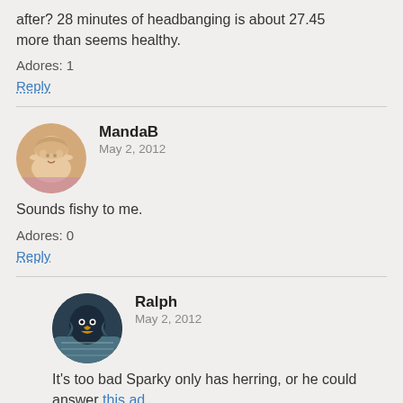after? 28 minutes of headbanging is about 27.45 more than seems healthy.
Adores: 1
Reply
MandaB
May 2, 2012
Sounds fishy to me.
Adores: 0
Reply
Ralph
May 2, 2012
It's too bad Sparky only has herring, or he could answer this ad.
Adores: 0
Reply